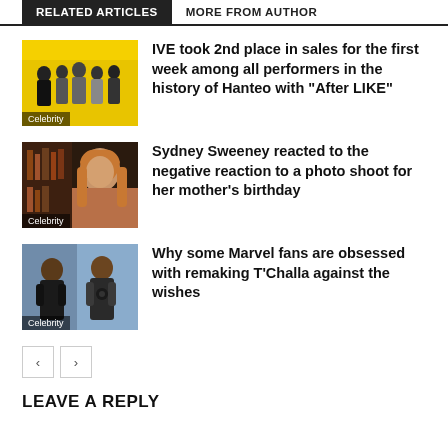RELATED ARTICLES | MORE FROM AUTHOR
[Figure (photo): Group of women in dark outfits on yellow background, Celebrity label]
IVE took 2nd place in sales for the first week among all performers in the history of Hanteo with “After LIKE”
[Figure (photo): Young woman with long blonde hair, Celebrity label]
Sydney Sweeney reacted to the negative reaction to a photo shoot for her mother’s birthday
[Figure (photo): Two men in superhero costumes, Celebrity label]
Why some Marvel fans are obsessed with remaking T’Challa against the wishes
< >
LEAVE A REPLY